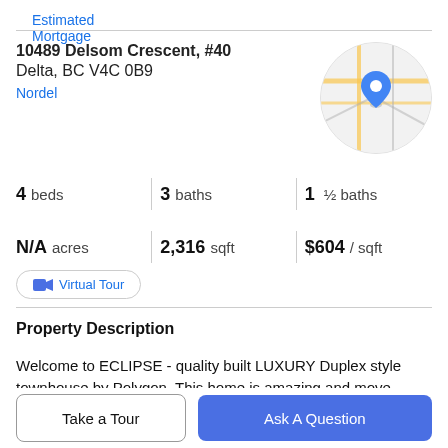Estimated Mortgage
10489 Delsom Crescent, #40
Delta, BC V4C 0B9
Nordel
[Figure (map): Circular map thumbnail showing street map with blue location pin marker]
4 beds   3 baths   1 ½ baths
N/A acres   2,316 sqft   $604 / sqft
Virtual Tour
Property Description
Welcome to ECLIPSE - quality built LUXURY Duplex style townhouse by Polygon. This home is amazing and move-
Take a Tour
Ask A Question